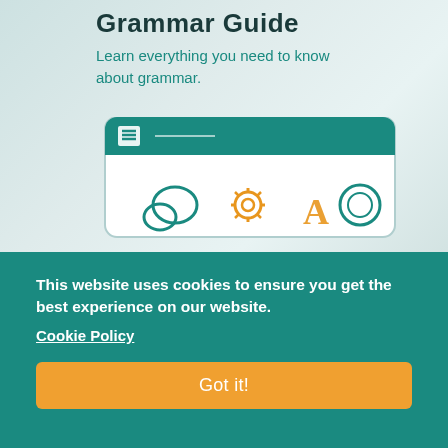Grammar Guide
Learn everything you need to know about grammar.
[Figure (illustration): Screenshot of a grammar guide app/website interface showing a teal header bar with a logo, and icons including quotation marks, gear, letter A, and circle — all in teal and orange colors, overlaid on a light background with a blurred office scene.]
This website uses cookies to ensure you get the best experience on our website.
Cookie Policy
Got it!